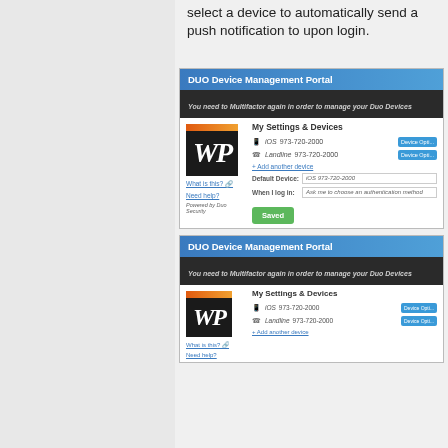select a device to automatically send a push notification to upon login.
[Figure (screenshot): DUO Device Management Portal screenshot showing My Settings & Devices with iOS and Landline device entries, Add another device link, Default Device and When I log in fields, and a Saved button.]
[Figure (screenshot): Second DUO Device Management Portal screenshot showing My Settings & Devices with iOS and Landline device entries and Add another device link (partially cut off).]